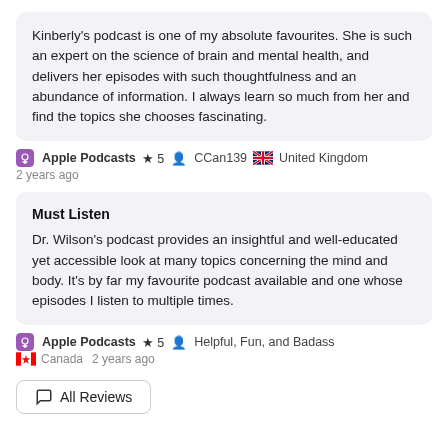Kinberly's podcast is one of my absolute favourites. She is such an expert on the science of brain and mental health, and delivers her episodes with such thoughtfulness and an abundance of information. I always learn so much from her and find the topics she chooses fascinating.
Apple Podcasts ★ 5  CCan139  🇬🇧 United Kingdom
2 years ago
Must Listen
Dr. Wilson's podcast provides an insightful and well-educated yet accessible look at many topics concerning the mind and body. It's by far my favourite podcast available and one whose episodes I listen to multiple times.
Apple Podcasts ★ 5  Helpful, Fun, and Badass  🇨🇦 Canada  2 years ago
All Reviews